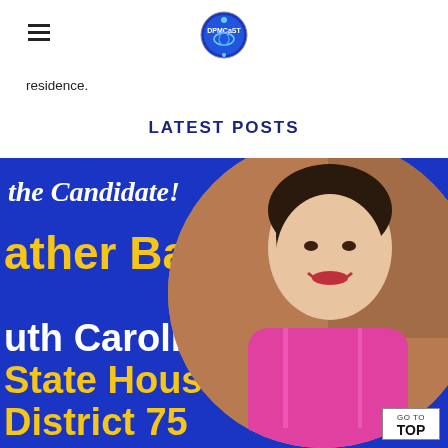≡ [DPMCaST logo]
residence.
LATEST POSTS
[Figure (photo): Campaign graphic on blue background showing text 'the Candidate! Heather Bauer South Carolina State House District 75' with a circular portrait photo of a woman in a pink top smiling, with a GO TO TOP button overlay]